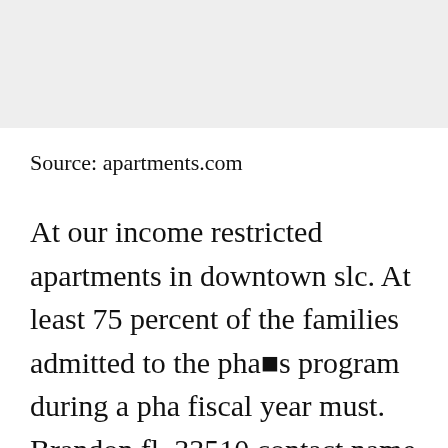[Figure (other): Grey placeholder image area at top of page]
Source: apartments.com
At our income restricted apartments in downtown slc. At least 75 percent of the families admitted to the pha�s program during a pha fiscal year must. Brandon fl, 33510 contact name : Very low (50%) income limits ($) 32,300: Luckily, apartment finder provides 3 subsidized or section 8 rental homes in katy so you can find the best fit for